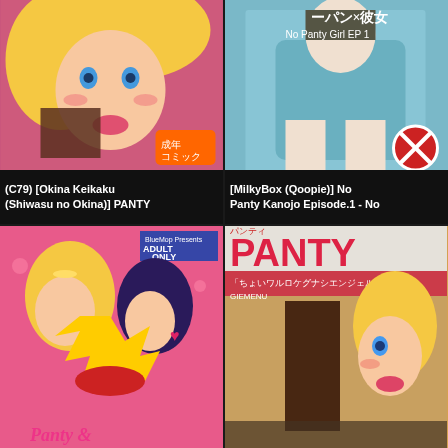[Figure (illustration): Anime manga cover - blonde female character, pink tones, adult comic book cover with Japanese text]
(C79) [Okina Keikaku (Shiwasu no Okina)] PANTY
[Figure (illustration): Anime manga cover - teal/blue tones, No Panty Girl EP1, MilkyBox Qoopie]
[MilkyBox (Qoopie)] No Panty Kanojo Episode.1 - No
[Figure (illustration): Anime manga cover - Panty and Stocking characters, pink background, ADULT ONLY label]
[Figure (illustration): Anime manga cover - PANTY title, blonde female character, adult content]